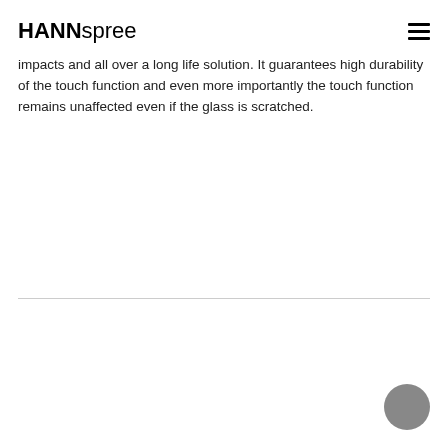HANNspree
impacts and all over a long life solution. It guarantees high durability of the touch function and even more importantly the touch function remains unaffected even if the glass is scratched.
[Figure (other): Horizontal divider line]